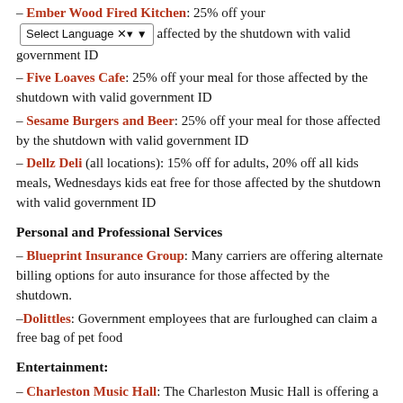– Ember Wood Fired Kitchen: 25% off your [Select Language] affected by the shutdown with valid government ID
– Five Loaves Cafe: 25% off your meal for those affected by the shutdown with valid government ID
– Sesame Burgers and Beer: 25% off your meal for those affected by the shutdown with valid government ID
– Dellz Deli (all locations): 15% off for adults, 20% off all kids meals, Wednesdays kids eat free for those affected by the shutdown with valid government ID
Personal and Professional Services
– Blueprint Insurance Group: Many carriers are offering alternate billing options for auto insurance for those affected by the shutdown.
–Dolittles: Government employees that are furloughed can claim a free bag of pet food
Entertainment:
– Charleston Music Hall: The Charleston Music Hall is offering a